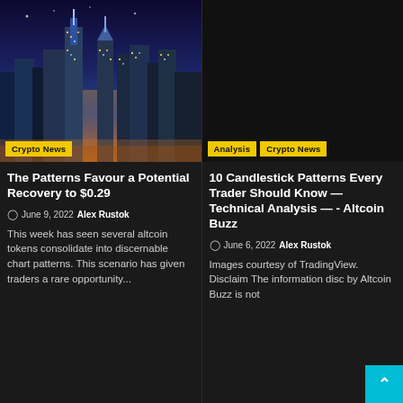[Figure (photo): Aerial night photo of New York City skyline with illuminated skyscrapers and city lights]
Crypto News
The Patterns Favour a Potential Recovery to $0.29
June 9, 2022  Alex Rustok
This week has seen several altcoin tokens consolidate into discernable chart patterns. This scenario has given traders a rare opportunity...
[Figure (photo): Dark/black image placeholder for second article]
Analysis  Crypto News
10 Candlestick Patterns Every Trader Should Know — Technical Analysis — - Altcoin Buzz
June 6, 2022  Alex Rustok
Images courtesy of TradingView. Disclaimer: The information disclosed by Altcoin Buzz is not